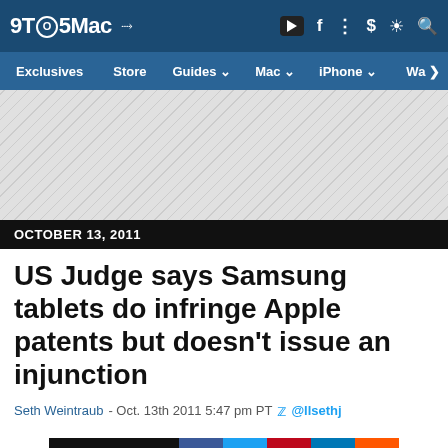9TO5Mac navigation bar with logo and icons
Exclusives | Store | Guides | Mac | iPhone | Wa >
[Figure (other): Advertisement placeholder area with diagonal stripe pattern]
OCTOBER 13, 2011
US Judge says Samsung tablets do infringe Apple patents but doesn't issue an injunction
Seth Weintraub - Oct. 13th 2011 5:47 pm PT @llsethj
Comments (0)